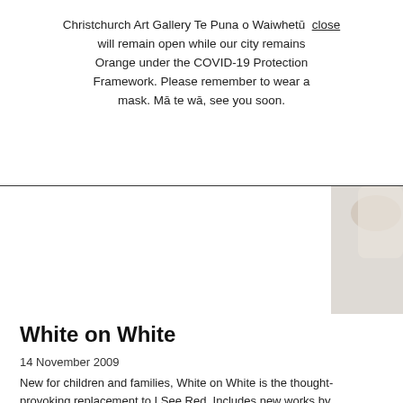Christchurch Art Gallery Te Puna o Waiwhetū will remain open while our city remains Orange under the COVID-19 Protection Framework. Please remember to wear a mask. Mā te wā, see you soon. close
[Figure (photo): Partial hero image showing a light-colored background with what appears to be a hand or white object, with a hamburger menu icon (two horizontal lines) in the lower right area of the image.]
White on White
14 November 2009
New for children and families, White on White is the thought-provoking replacement to I See Red. Includes new works by contemporary artists, and works from the permanent collection by Ando Hiroshige, Eileen Mayo, Jude Rae and Peter Robinson.